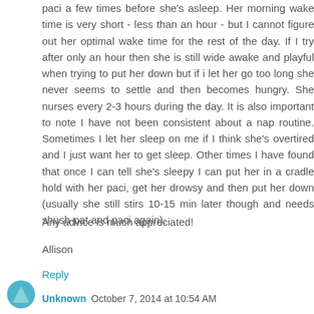paci a few times before she's asleep. Her morning wake time is very short - less than an hour - but I cannot figure out her optimal wake time for the rest of the day. If I try after only an hour then she is still wide awake and playful when trying to put her down but if i let her go too long she never seems to settle and then becomes hungry. She nurses every 2-3 hours during the day. It is also important to note I have not been consistent about a nap routine. Sometimes I let her sleep on me if I think she's overtired and I just want her to get sleep. Other times I have found that once I can tell she's sleepy I can put her in a cradle hold with her paci, get her drowsy and then put her down (usually she still stirs 10-15 min later though and needs shush-pat and paci again).
Any advice is much appreciated!
Allison
Reply
Unknown  October 7, 2014 at 10:54 AM